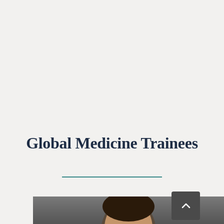Global Medicine Trainees
[Figure (photo): Partial photograph of a person's head/face visible at the bottom of the page, appearing as a profile or front-facing headshot cropped to just the top of the head]